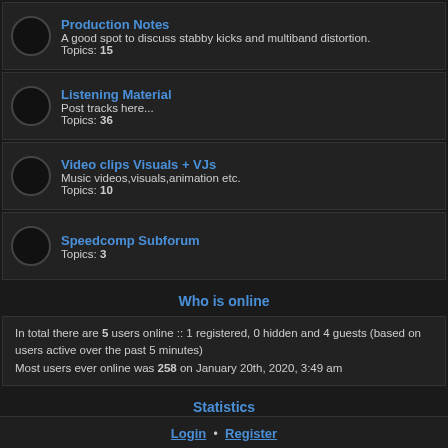Production Notes - A good spot to discuss stabby kicks and multiband distortion. Topics: 15
Listening Material - Post tracks here... Topics: 36
Video clips Visuals + VJs - Music videos,visuals,animation etc. Topics: 10
Speedcomp Subforum - Topics: 3
Who is online
In total there are 5 users online :: 1 registered, 0 hidden and 4 guests (based on users active over the past 5 minutes) Most users ever online was 258 on January 20th, 2020, 3:49 am
Statistics
Total posts 383 • Total topics 167 • Total members 432 • Our newest member tangyburrito
Login • Register